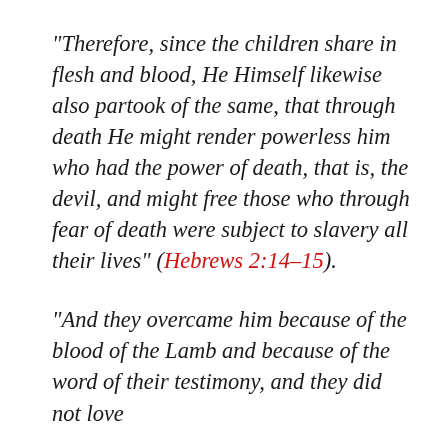“Therefore, since the children share in flesh and blood, He Himself likewise also partook of the same, that through death He might render powerless him who had the power of death, that is, the devil, and might free those who through fear of death were subject to slavery all their lives” (Hebrews 2:14–15).
“And they overcame him because of the blood of the Lamb and because of the word of their testimony, and they did not love